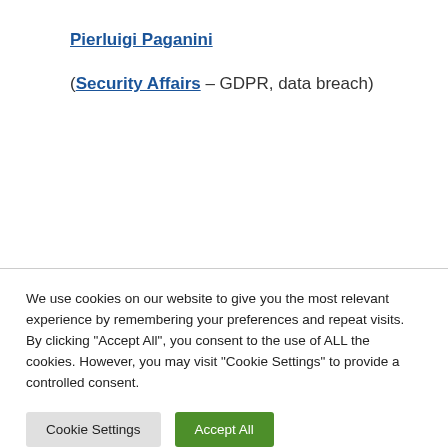Pierluigi Paganini
(Security Affairs – GDPR, data breach)
We use cookies on our website to give you the most relevant experience by remembering your preferences and repeat visits. By clicking "Accept All", you consent to the use of ALL the cookies. However, you may visit "Cookie Settings" to provide a controlled consent.
Cookie Settings | Accept All